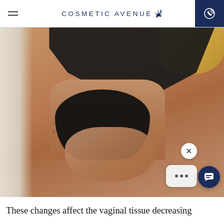COSMETIC AVENUE
[Figure (photo): A woman in a black lace bikini top and dark underwear posing against a white curtained background, with blonde hair visible. She has a tattoo on her left ribcage area and her hands are crossed in front.]
These changes affect the vaginal tissue decreasing